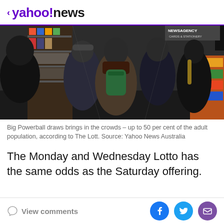yahoo!news
[Figure (photo): People standing in line at a newsagency/stationery store, viewed from behind. Several people with backpacks and winter clothing waiting at a counter. Store shelves visible on both sides.]
Big Powerball draws brings in the crowds – up to 50 per cent of the adult population, according to The Lott. Source: Yahoo News Australia
The Monday and Wednesday Lotto has the same odds as the Saturday offering.
View comments